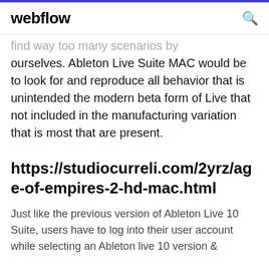webflow
find way too many scenarios by ourselves. Ableton Live Suite MAC would be to look for and reproduce all behavior that is unintended the modern beta form of Live that not included in the manufacturing variation that is most that are present.
https://studiocurreli.com/2yrz/age-of-empires-2-hd-mac.html
Just like the previous version of Ableton Live 10 Suite, users have to log into their user account while selecting an Ableton live 10 version &